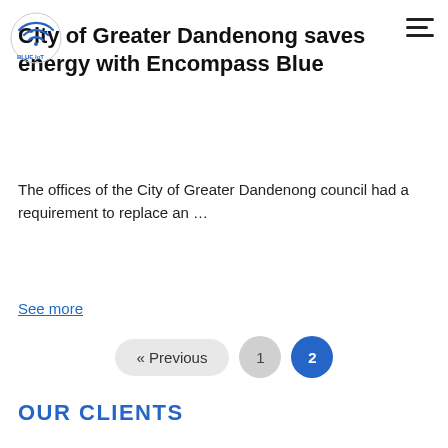[Figure (logo): Blue IoT logo with circular wifi icon and text BLUE IoT in blue]
City of Greater Dandenong saves energy with Encompass Blue
The offices of the City of Greater Dandenong council had a requirement to replace an ...
See more
« Previous  1  2
OUR CLIENTS